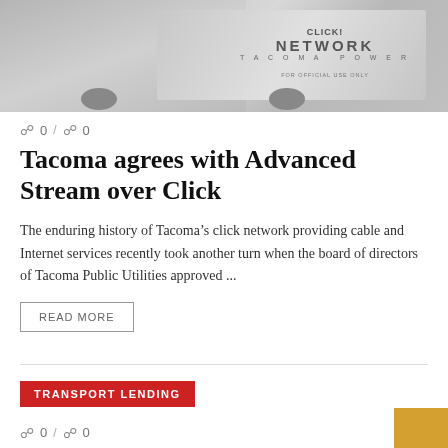[Figure (photo): Black and white photo of a truck/van with 'CLICK! NETWORK TACOMA POWER' text on the side, 'FOR OFFICIAL USE ONLY' label visible]
0 / 0
Tacoma agrees with Advanced Stream over Click
The enduring history of Tacoma’s click network providing cable and Internet services recently took another turn when the board of directors of Tacoma Public Utilities approved ...
READ MORE
TRANSPORT LENDING
0 / 0
Comcast agrees to pay $ 155 million to settle with